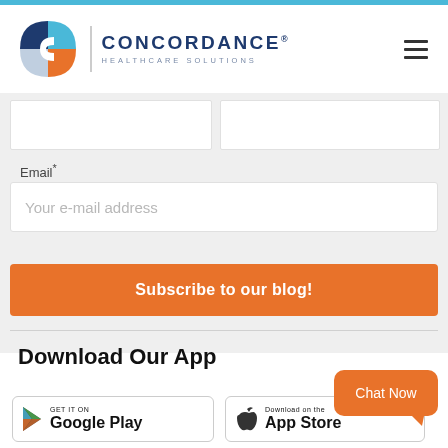[Figure (logo): Concordance Healthcare Solutions logo with geometric C icon in blue, navy, and orange, with company name and tagline]
Email*
Your e-mail address
Subscribe to our blog!
Download Our App
GET IT ON
Google Play
Download on the
App Store
Chat Now